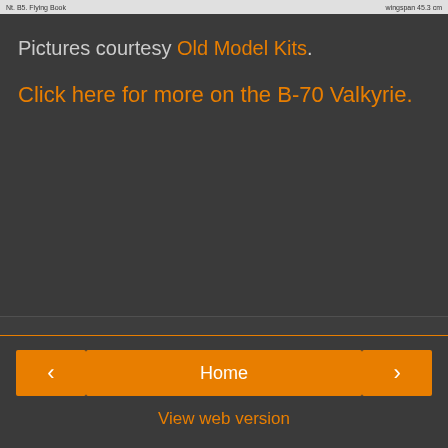[Figure (screenshot): Partial screenshot strip showing a document or image header with text on left and right sides]
Pictures courtesy Old Model Kits.
Click here for more on the B-70 Valkyrie.
Share
< Home > View web version